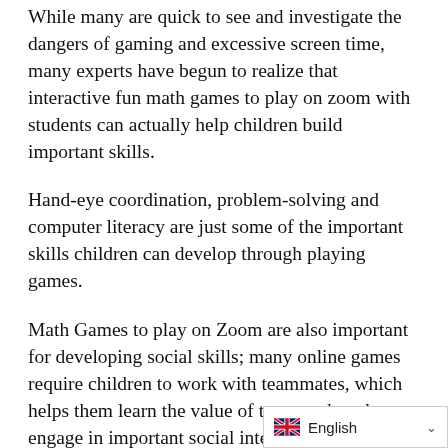While many are quick to see and investigate the dangers of gaming and excessive screen time, many experts have begun to realize that interactive fun math games to play on zoom with students can actually help children build important skills.
Hand-eye coordination, problem-solving and computer literacy are just some of the important skills children can develop through playing games.
Math Games to play on Zoom are also important for developing social skills; many online games require children to work with teammates, which helps them learn the value of teamwork and engage in important social interactions that help the